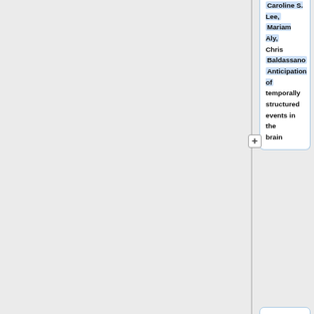Caroline S. Lee, Mariam Aly, Chris Baldassano — Anticipation of temporally structured events in the brain
Anuya Patil, Katherine Duncan — Measuring the neural underpinnings of lingering mnemonic states
Rebecca A. Cutler, Sarah Brown-Schmidt, Sean M. Polyn